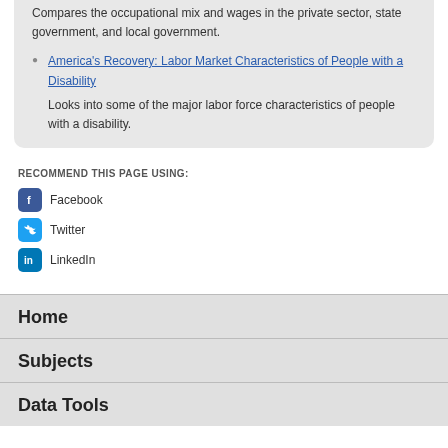Compares the occupational mix and wages in the private sector, state government, and local government.
America's Recovery: Labor Market Characteristics of People with a Disability — Looks into some of the major labor force characteristics of people with a disability.
RECOMMEND THIS PAGE USING:
Facebook
Twitter
LinkedIn
Home
Subjects
Data Tools